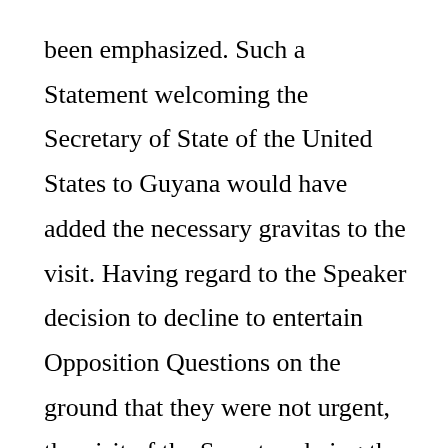been emphasized. Such a Statement welcoming the Secretary of State of the United States to Guyana would have added the necessary gravitas to the visit. Having regard to the Speaker decision to decline to entertain Opposition Questions on the ground that they were not urgent, the visit of the Secretary being the following day, the Minister could have held an immediate press conference to answer them. They posed little or no difficulty and the public and Opposition